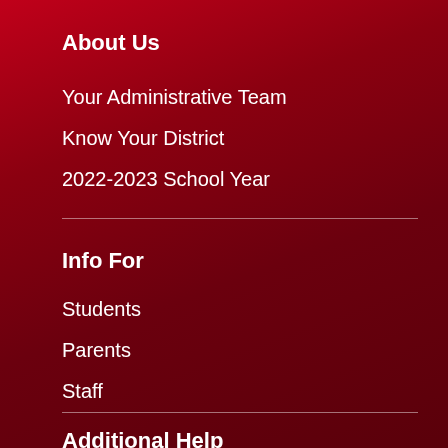About Us
Your Administrative Team
Know Your District
2022-2023 School Year
Info For
Students
Parents
Staff
Additional Help